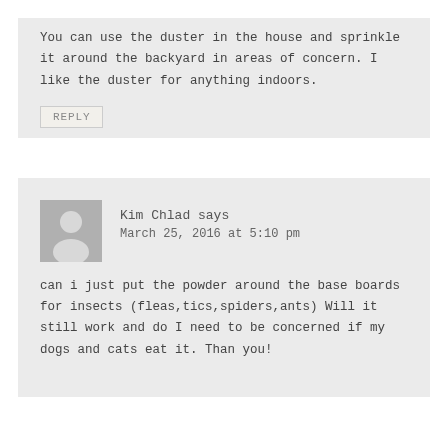You can use the duster in the house and sprinkle it around the backyard in areas of concern. I like the duster for anything indoors.
REPLY
Kim Chlad says
March 25, 2016 at 5:10 pm
can i just put the powder around the base boards for insects (fleas,tics,spiders,ants) Will it still work and do I need to be concerned if my dogs and cats eat it. Than you!